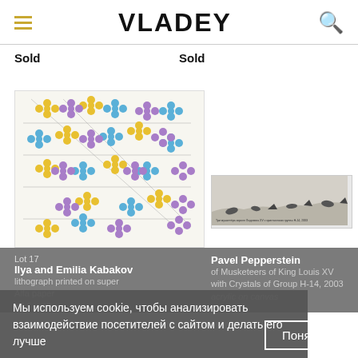VLADEY
Sold
Sold
[Figure (illustration): Colorful flowers illustration with yellow, blue, and purple flower clusters on a light background with geometric grid lines]
[Figure (illustration): Black and white sketch/drawing showing figures in a landscape scene]
Lot 17
Ilya and Emilia Kabakov
lithograph printed on super Alfa paper
89,5 × 40...
Pavel Pepperstein
of Musketeers of King Louis XV with Crystals of Group H-14, 2003
acrylic on canvas
Мы используем cookie, чтобы анализировать взаимодействие посетителей с сайтом и делать его лучше
Понятно